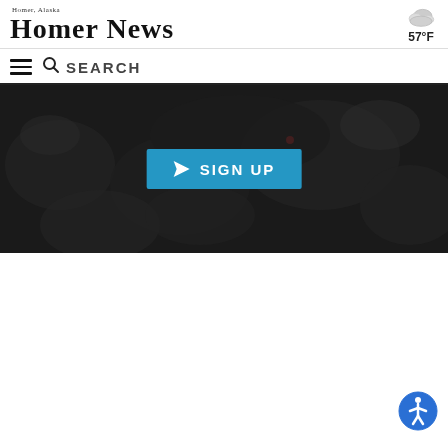Homer News — Homer, Alaska
57°F
SEARCH
[Figure (screenshot): Dark banner image with a teal 'SIGN UP' button in the center, paper-plane icon to the left of the text]
SIGN UP